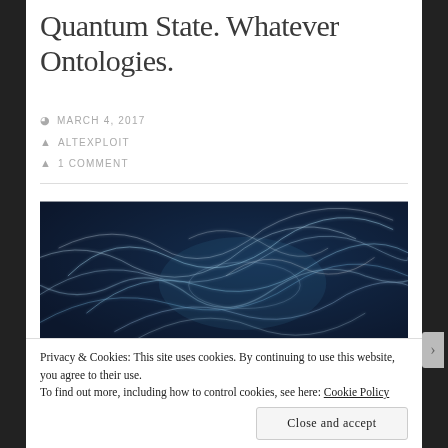Quantum State. Whatever Ontologies.
MARCH 4, 2017
ALTEXPLOIT
1 COMMENT
[Figure (photo): Abstract blue energy or quantum field visualization — swirling glowing white-blue filaments and tendrils on a dark blue background, suggesting particle interactions or energy fields.]
Privacy & Cookies: This site uses cookies. By continuing to use this website, you agree to their use.
To find out more, including how to control cookies, see here: Cookie Policy
Close and accept